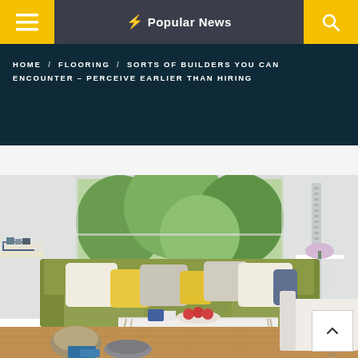Popular News
HOME / FLOORING / SORTS OF BUILDERS YOU CAN ENCOUNTER – PERCEIVE EARLIER THAN HIRING
[Figure (photo): A modern living room with an olive/green sofa with white and yellow cushions, a white coffee table with fruit and decorative items, large floor-to-ceiling windows showing green trees outside, hardwood flooring, and various interior decor items.]